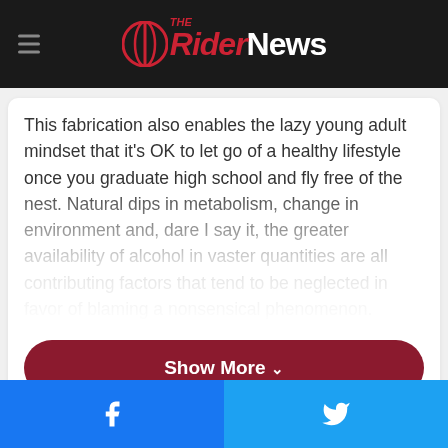The Rider News
This fabrication also enables the lazy young adult mindset that it's OK to let go of a healthy lifestyle once you graduate high school and fly free of the nest. Natural dips in metabolism, change in environment and, dare I say it, the greater availability of alcohol in vaster quantities are all contributing factors that tend to be neglected in favor of blaming a nonsensical phenomenon.
Show More ˅
[Figure (other): Gray image placeholder in second article card]
Facebook share button | Twitter share button